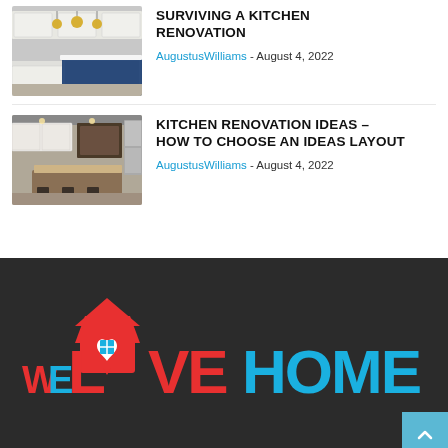[Figure (photo): Kitchen with white cabinets and blue island, gold pendant lights]
SURVIVING A KITCHEN RENOVATION
AugustusWilliams - August 4, 2022
[Figure (photo): Kitchen with white cabinets, granite island, and stainless steel appliances]
KITCHEN RENOVATION IDEAS – HOW TO CHOOSE AN IDEAS LAYOUT
AugustusWilliams - August 4, 2022
[Figure (logo): We Love Home logo – red and blue text on dark background with house/heart icon]